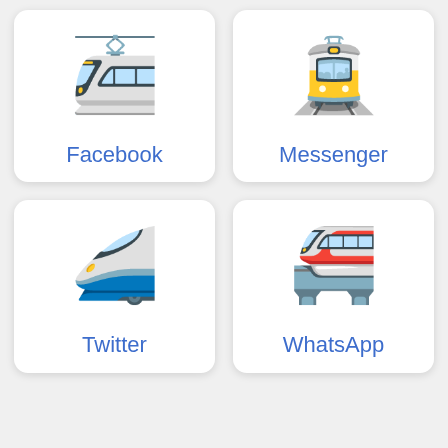[Figure (illustration): Card with train emoji icon labeled Facebook]
Facebook
[Figure (illustration): Card with tram emoji icon labeled Messenger]
Messenger
[Figure (illustration): Card with bullet train emoji icon labeled Twitter]
Twitter
[Figure (illustration): Card with monorail emoji icon labeled WhatsApp]
WhatsApp